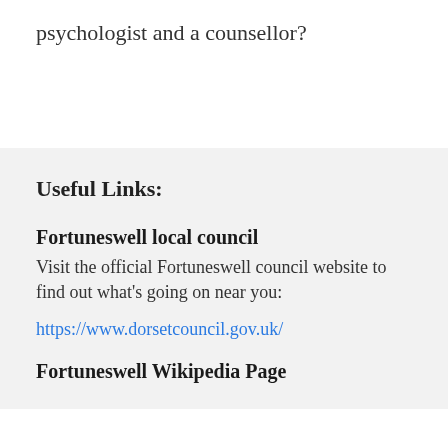psychologist and a counsellor?
Useful Links:
Fortuneswell local council
Visit the official Fortuneswell council website to find out what's going on near you:
https://www.dorsetcouncil.gov.uk/
Fortuneswell Wikipedia Page